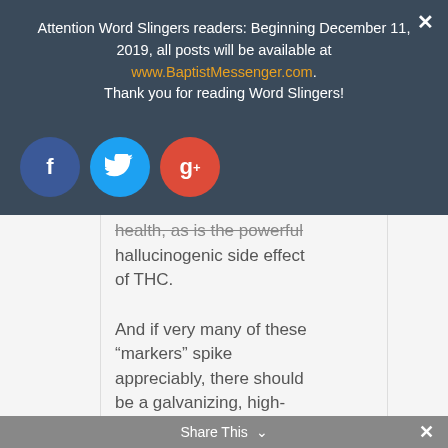Attention Word Slingers readers: Beginning December 11, 2019, all posts will be available at www.BaptistMessenger.com. Thank you for reading Word Slingers!
[Figure (infographic): Social sharing icons: Facebook (blue circle with f), Twitter (light blue circle with bird), Google+ (red circle with g+)]
health, as is the powerful hallucinogenic side effect of THC.
And if very many of these “markers” spike appreciably, there should be a galvanizing, high-decibel, public outcry to put the Genie back in the bottle ASAP. So, the burden of proof rests
Share This